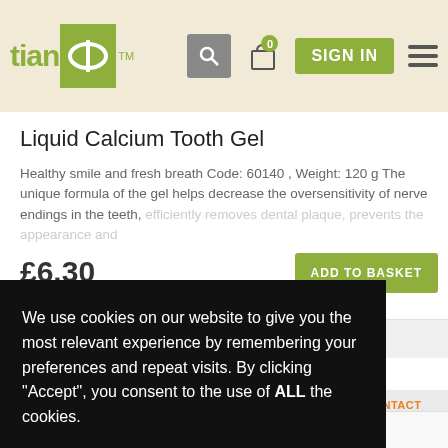tianDe™ — navigation header with search, cart (0 items), SIGN IN button, hamburger menu
Liquid Calcium Tooth Gel
Healthy smile and fresh breath Code: 60140 , Weight: 120 g The unique formula of the gel helps decrease the oversensitivity of nerve endings in the teeth, efficiently removes dental plaque, prevents the appearance and
£6.30
ADD TO BASKET
Add to Wish list
We use cookies on our website to give you the most relevant experience by remembering your preferences and repeat visits. By clicking "Accept", you consent to the use of ALL the cookies.
Cookie settings
ACCEPT
[Figure (illustration): CONTACT US illustration with envelope and @ symbol in green/teal and orange colors]